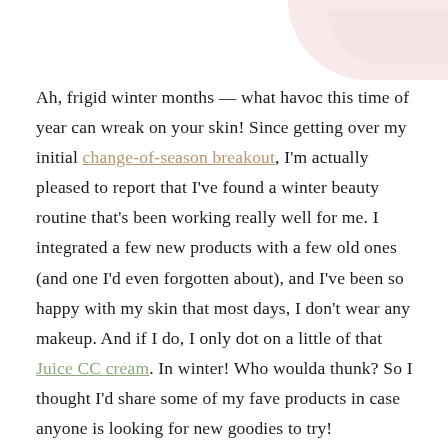Ah, frigid winter months — what havoc this time of year can wreak on your skin! Since getting over my initial change-of-season breakout, I'm actually pleased to report that I've found a winter beauty routine that's been working really well for me. I integrated a few new products with a few old ones (and one I'd even forgotten about), and I've been so happy with my skin that most days, I don't wear any makeup. And if I do, I only dot on a little of that Juice CC cream. In winter! Who woulda thunk? So I thought I'd share some of my fave products in case anyone is looking for new goodies to try!